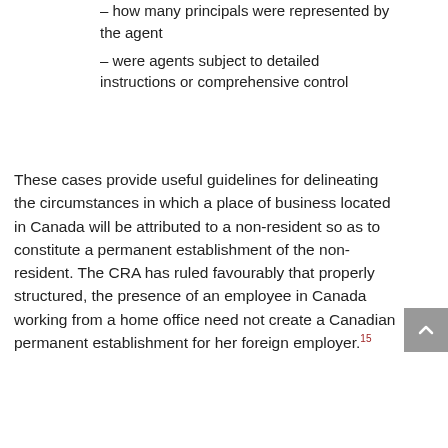– how many principals were represented by the agent
– were agents subject to detailed instructions or comprehensive control
These cases provide useful guidelines for delineating the circumstances in which a place of business located in Canada will be attributed to a non-resident so as to constitute a permanent establishment of the non-resident. The CRA has ruled favourably that properly structured, the presence of an employee in Canada working from a home office need not create a Canadian permanent establishment for her foreign employer.15